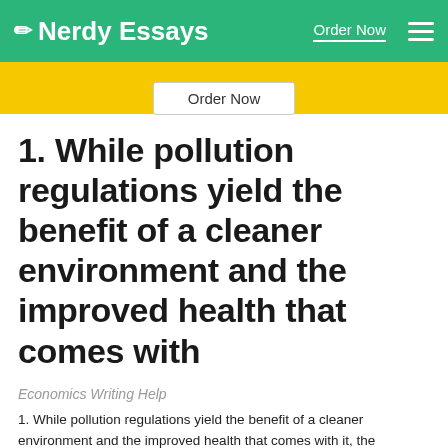Nerdy Essays | Order Now
[Figure (other): Yellow banner with Order Now button]
1. While pollution regulations yield the benefit of a cleaner environment and the improved health that comes with
Economics Writing Help
1. While pollution regulations yield the benefit of a cleaner environment and the improved health that comes with it, the regulations come at the cost of reducing the incomes of the regulated firms' owners, workers, and customers. This